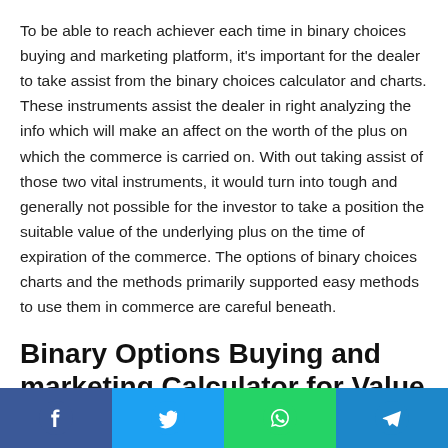To be able to reach achiever each time in binary choices buying and marketing platform, it's important for the dealer to take assist from the binary choices calculator and charts. These instruments assist the dealer in right analyzing the info which will make an affect on the worth of the plus on which the commerce is carried on. With out taking assist of those two vital instruments, it would turn into tough and generally not possible for the investor to take a position the suitable value of the underlying plus on the time of expiration of the commerce. The options of binary choices charts and the methods primarily supported easy methods to use them in commerce are careful beneath.
Binary Options Buying and marketing Calculator for Value Anticipation
[Figure (infographic): Social sharing bar with Facebook, Twitter, WhatsApp, and Telegram icons]